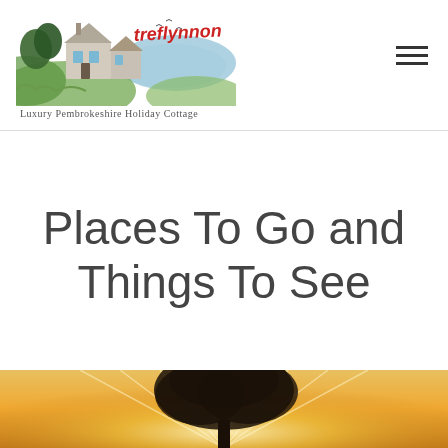[Figure (logo): Treflynnon logo with illustrated cottage and watercolor landscape, text 'treflynnon' in red script above]
Luxury Pembrokeshire Holiday Cottage
Places To Go and Things To See
[Figure (photo): Sunset photo with silhouetted tree and sunburst rays through branches against warm golden sky]